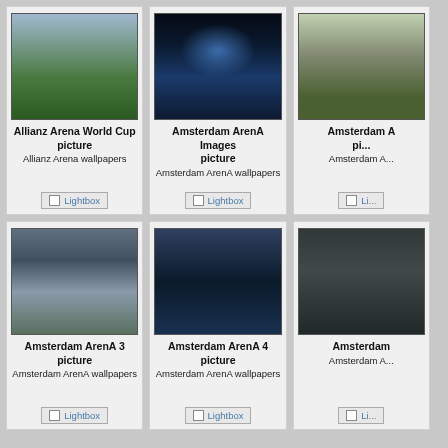[Figure (photo): Allianz Arena interior aerial view of football pitch with packed crowd]
Allianz Arena World Cup picture
Allianz Arena wallpapers
[Figure (photo): Amsterdam ArenA exterior at night illuminated in blue]
Amsterdam ArenA Images picture
Amsterdam ArenA wallpapers
[Figure (photo): Amsterdam ArenA aerial view partially visible]
Amsterdam... picture
[Figure (photo): Amsterdam ArenA 3 interior view with retractable roof open]
Amsterdam ArenA 3 picture
Amsterdam ArenA wallpapers
[Figure (photo): Amsterdam ArenA 4 aerial exterior view daytime]
Amsterdam ArenA 4 picture
Amsterdam ArenA wallpapers
[Figure (photo): Amsterdam ArenA night view with floodlights partially visible]
Amsterdam... 
Amsterdam A...